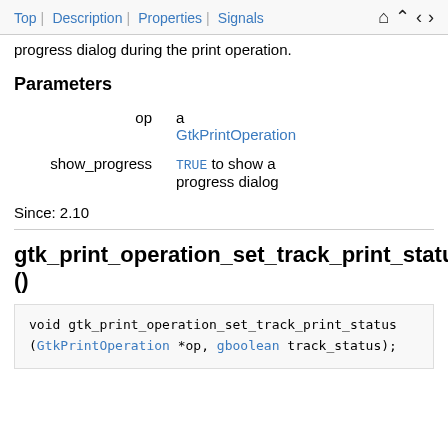Top | Description | Properties | Signals
progress dialog during the print operation.
Parameters
| Parameter | Description |
| --- | --- |
| op | a GtkPrintOperation |
| show_progress | TRUE to show a progress dialog |
Since: 2.10
gtk_print_operation_set_track_print_status ()
void
gtk_print_operation_set_track_print_status
                    (GtkPrintOperation *op,
                     gboolean track_status);